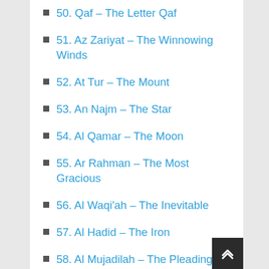50. Qaf – The Letter Qaf
51. Az Zariyat – The Winnowing Winds
52. At Tur – The Mount
53. An Najm – The Star
54. Al Qamar – The Moon
55. Ar Rahman – The Most Gracious
56. Al Waqi'ah – The Inevitable
57. Al Hadid – The Iron
58. Al Mujadilah – The Pleading
59. Al Hashr – The Mustering
60. Al Mumtahanah – The Examined One
61. As Shaff – The Ranks
62. Al Jumu'ah – The Congregation
63. Al Munafiqun – The Hypocrites